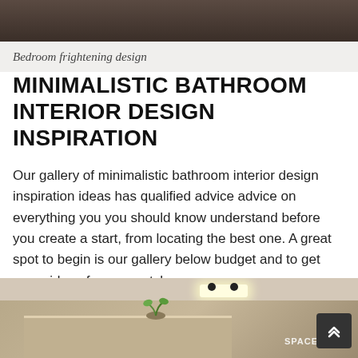[Figure (photo): Top portion of a dark bedroom/interior photo, cropped at the top of the page]
Bedroom frightening design
MINIMALISTIC BATHROOM INTERIOR DESIGN INSPIRATION
Our gallery of minimalistic bathroom interior design inspiration ideas has qualified advice advice on everything you you should know understand before you create a start, from locating the best one. A great spot to begin is our gallery below budget and to get some ideas for every style.
[Figure (photo): Minimalistic bathroom interior photo showing ceiling spotlights, a wooden counter, green plants, and a SPACE logo/signage]